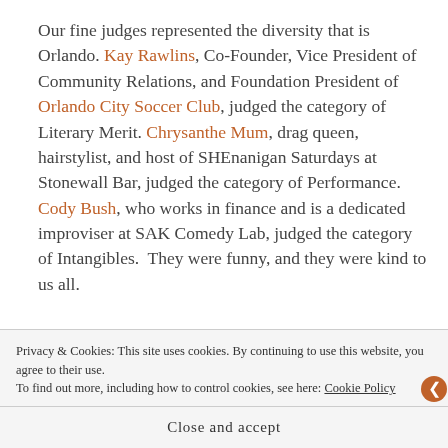Our fine judges represented the diversity that is Orlando. Kay Rawlins, Co-Founder, Vice President of Community Relations, and Foundation President of Orlando City Soccer Club, judged the category of Literary Merit. Chrysanthe Mum, drag queen, hairstylist, and host of SHEnanigan Saturdays at Stonewall Bar, judged the category of Performance. Cody Bush, who works in finance and is a dedicated improviser at SAK Comedy Lab, judged the category of Intangibles. They were funny, and they were kind to us all.
[Figure (photo): Photo of a person, partially visible, with a dark reddish-brown background]
Ironically, a couple
Privacy & Cookies: This site uses cookies. By continuing to use this website, you agree to their use.
To find out more, including how to control cookies, see here: Cookie Policy
Close and accept